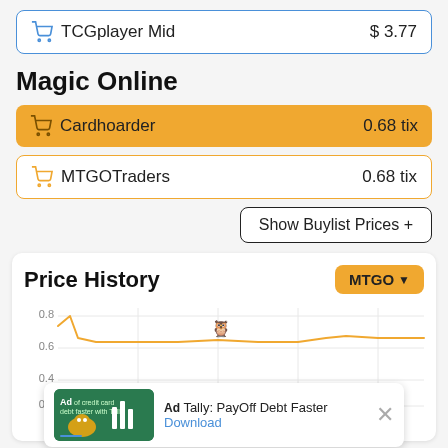TCGplayer Mid   $ 3.77
Magic Online
Cardhoarder   0.68 tix
MTGOTraders   0.68 tix
Show Buylist Prices +
[Figure (line-chart): MTGO price history line chart showing values roughly between 0.6 and 0.8 tix over time, with a peak near the start around 0.8 and a tooltip showing a creature icon near the middle of the chart.]
[Figure (other): Ad banner: Tally PayOff Debt Faster with Download link and close button]